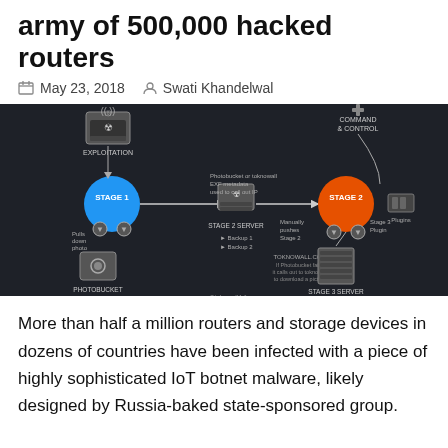army of 500,000 hacked routers
May 23, 2018   Swati Khandelwal
[Figure (infographic): VPNFilter malware attack stages diagram showing Exploitation router, Stage 1, Stage 2 Server, Stage 3 Server, Command & Control, Photobucket, plugins, and data flow arrows on dark background]
More than half a million routers and storage devices in dozens of countries have been infected with a piece of highly sophisticated IoT botnet malware, likely designed by Russia-baked state-sponsored group.